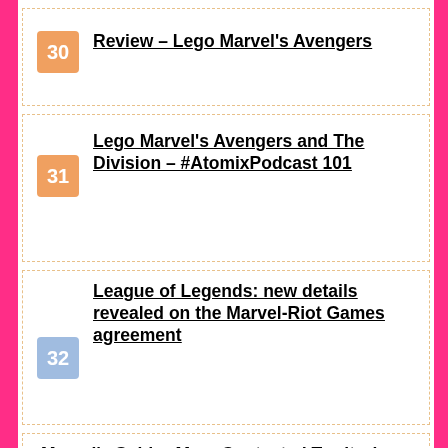30 Review – Lego Marvel's Avengers
31 Lego Marvel's Avengers and The Division – #AtomixPodcast 101
32 League of Legends: new details revealed on the Marvel-Riot Games agreement
33 Marvel's Spider-Man: Contested Territories, the trailer for the new DLC is online